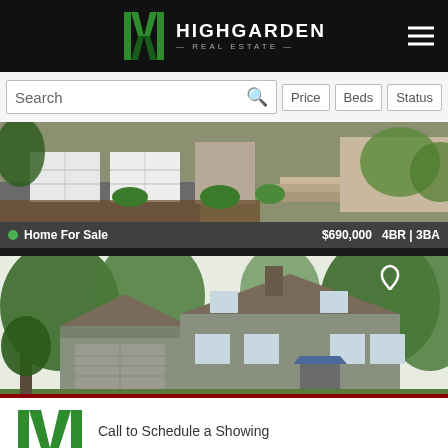HIGHGARDEN REAL ESTATE
Search | Price | Beds | Status
[Figure (photo): Front exterior of a brick and siding home with double garage, landscaped front yard with mulched beds, stairs to entrance, surrounded by trees. Labeled 'Home For Sale' with price $690,000, 4BR | 3BA, 29 Photos, address 10831 Greater Hills St, Raleigh 27614]
[Figure (photo): Two-story gray siding colonial-style home with attached garage and blue awning over front door, surrounded by dense green trees. Heart/favorite icon visible in top right corner.]
Call to Schedule a Showing
(919) 928-5027